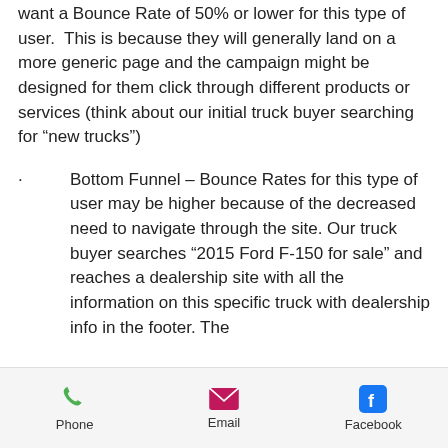want a Bounce Rate of 50% or lower for this type of user.  This is because they will generally land on a more generic page and the campaign might be designed for them click through different products or services (think about our initial truck buyer searching for “new trucks”)
Bottom Funnel – Bounce Rates for this type of user may be higher because of the decreased need to navigate through the site. Our truck buyer searches “2015 Ford F-150 for sale” and reaches a dealership site with all the information on this specific truck with dealership info in the footer. The
Phone   Email   Facebook